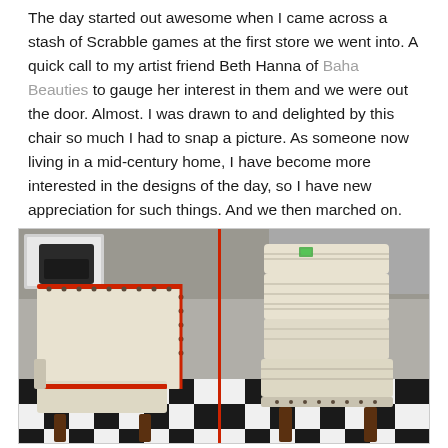The day started out awesome when I came across a stash of Scrabble games at the first store we went into. A quick call to my artist friend Beth Hanna of Baha Beauties to gauge her interest in them and we were out the door. Almost. I was drawn to and delighted by this chair so much I had to snap a picture. As someone now living in a mid-century home, I have become more interested in the designs of the day, so I have new appreciation for such things. And we then marched on.
[Figure (photo): Two views of a mid-century style chair with cream/beige leather or vinyl upholstery, red piping trim, and dark wood legs, shown in a thrift store with black and white checkerboard floor. Left view shows the back of the chair, right view shows the front/side. A vertical red line divides the two views.]